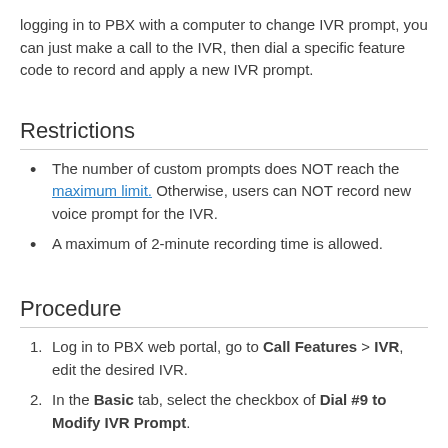logging in to PBX with a computer to change IVR prompt, you can just make a call to the IVR, then dial a specific feature code to record and apply a new IVR prompt.
Restrictions
The number of custom prompts does NOT reach the maximum limit. Otherwise, users can NOT record new voice prompt for the IVR.
A maximum of 2-minute recording time is allowed.
Procedure
Log in to PBX web portal, go to Call Features > IVR, edit the desired IVR.
In the Basic tab, select the checkbox of Dial #9 to Modify IVR Prompt.